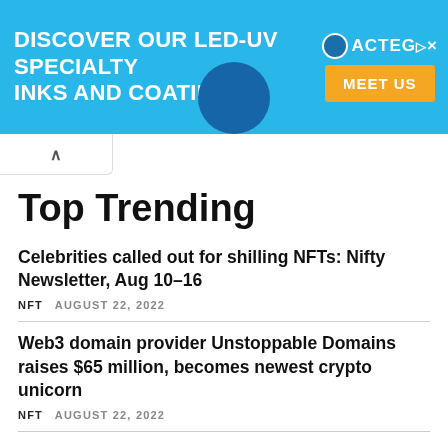[Figure (infographic): Advertisement banner for LED-UV specialty inks and coatings by ACTEGA with a blue background, company logo, decorative blue circle, and orange 'MEET US' button]
Top Trending
Celebrities called out for shilling NFTs: Nifty Newsletter, Aug 10–16
NFT   AUGUST 22, 2022
Web3 domain provider Unstoppable Domains raises $65 million, becomes newest crypto unicorn
NFT   AUGUST 22, 2022